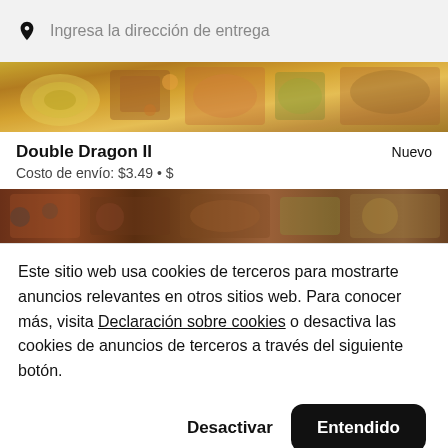Ingresa la dirección de entrega
[Figure (photo): Top banner photo of restaurant food dishes including soups and colorful plates]
Double Dragon II
Nuevo
Costo de envío: $3.49 • $
[Figure (photo): Second food photo banner showing various dishes in dark containers]
Este sitio web usa cookies de terceros para mostrarte anuncios relevantes en otros sitios web. Para conocer más, visita Declaración sobre cookies o desactiva las cookies de anuncios de terceros a través del siguiente botón.
Desactivar    Entendido